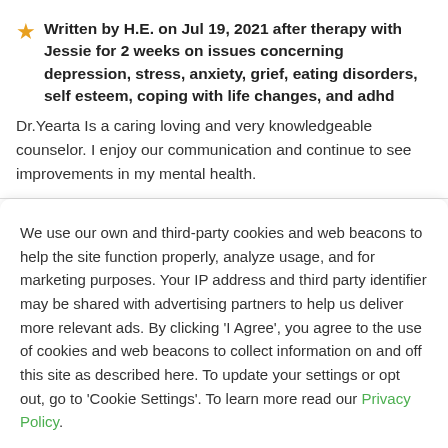Written by H.E. on Jul 19, 2021 after therapy with Jessie for 2 weeks on issues concerning depression, stress, anxiety, grief, eating disorders, self esteem, coping with life changes, and adhd
Dr.Yearta Is a caring loving and very knowledgeable counselor. I enjoy our communication and continue to see improvements in my mental health.
We use our own and third-party cookies and web beacons to help the site function properly, analyze usage, and for marketing purposes. Your IP address and third party identifier may be shared with advertising partners to help us deliver more relevant ads. By clicking 'I Agree', you agree to the use of cookies and web beacons to collect information on and off this site as described here. To update your settings or opt out, go to 'Cookie Settings'. To learn more read our Privacy Policy.